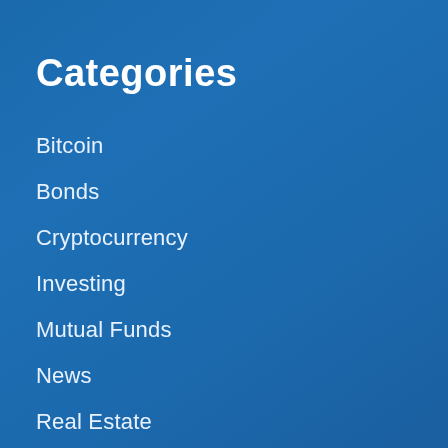Categories
Bitcoin
Bonds
Cryptocurrency
Investing
Mutual Funds
News
Real Estate
Stock Market
Trader Talk
Videos